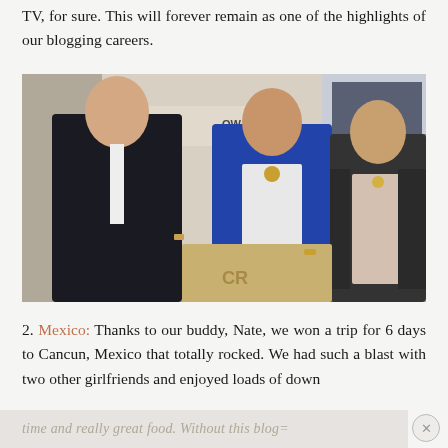TV, for sure. This will forever remain as one of the highlights of our blogging careers.
[Figure (photo): Three people standing in a TV studio set. A man in a dark suit with a black tie stands on the left. Two women stand in the center and right, smiling. A sign reading 'NATE BERKUS SHOW' is partially visible in the background.]
2. Mexico: Thanks to our buddy, Nate, we won a trip for 6 days to Cancun, Mexico that totally rocked. We had such a blast with two other girlfriends and enjoyed loads of down
time and really great food. Without this blog=